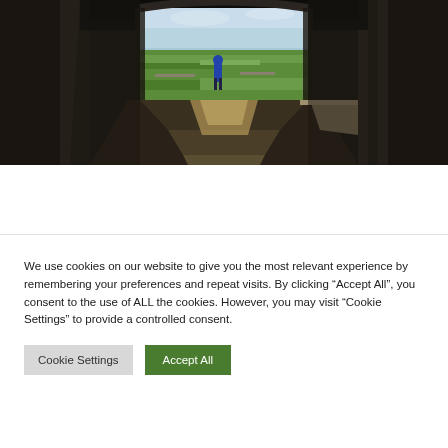[Figure (photo): A person in a blue jacket standing at the end of a dark stone corridor/tunnel, looking out onto a green landscape with fields and sky visible through the opening. The interior is dark stone with dramatic lighting.]
< Previous
We use cookies on our website to give you the most relevant experience by remembering your preferences and repeat visits. By clicking "Accept All", you consent to the use of ALL the cookies. However, you may visit "Cookie Settings" to provide a controlled consent.
Cookie Settings
Accept All